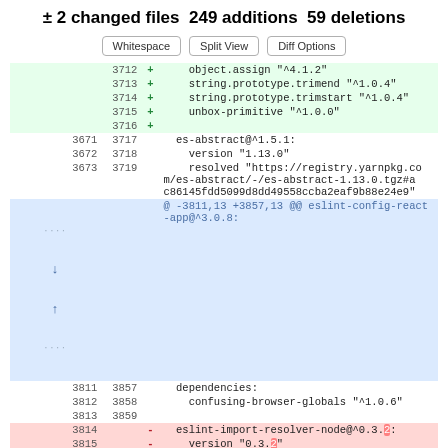± 2 changed files 249 additions 59 deletions
Whitespace | Split View | Diff Options
| old | new | sign | code |
| --- | --- | --- | --- |
|  | 3712 | + |     object.assign "^4.1.2" |
|  | 3713 | + |     string.prototype.trimend "^1.0.4" |
|  | 3714 | + |     string.prototype.trimstart "^1.0.4" |
|  | 3715 | + |     unbox-primitive "^1.0.0" |
|  | 3716 | + |  |
| 3671 | 3717 |  |   es-abstract@^1.5.1: |
| 3672 | 3718 |  |     version "1.13.0" |
| 3673 | 3719 |  |     resolved "https://registry.yarnpkg.co
m/es-abstract/-/es-abstract-1.13.0.tgz#a
c86145fdd5099d8dd49558ccba2eaf9b88e24e9" |
| (hunk) |  |  | @ -3811,13 +3857,13 @@ eslint-config-react-app@^3.0.8: |
| 3811 | 3857 |  |   dependencies: |
| 3812 | 3858 |  |     confusing-browser-globals "^1.0.6" |
| 3813 | 3859 |  |  |
| 3814 |  | - |   eslint-import-resolver-node@^0.3.2: |
| 3815 |  | - |     version "0.3.2" |